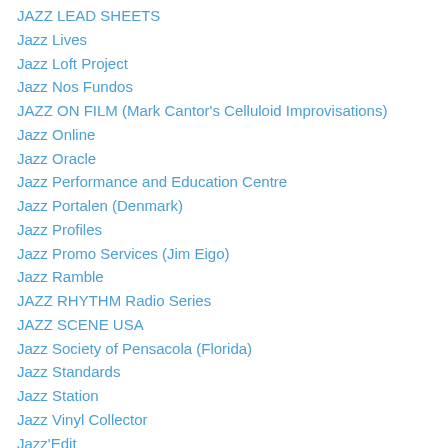JAZZ LEAD SHEETS
Jazz Lives
Jazz Loft Project
Jazz Nos Fundos
JAZZ ON FILM (Mark Cantor's Celluloid Improvisations)
Jazz Online
Jazz Oracle
Jazz Performance and Education Centre
Jazz Portalen (Denmark)
Jazz Profiles
Jazz Promo Services (Jim Eigo)
Jazz Ramble
JAZZ RHYTHM Radio Series
JAZZ SCENE USA
Jazz Society of Pensacola (Florida)
Jazz Standards
Jazz Station
Jazz Vinyl Collector
Jazz'Edit
Jazz&Jazz